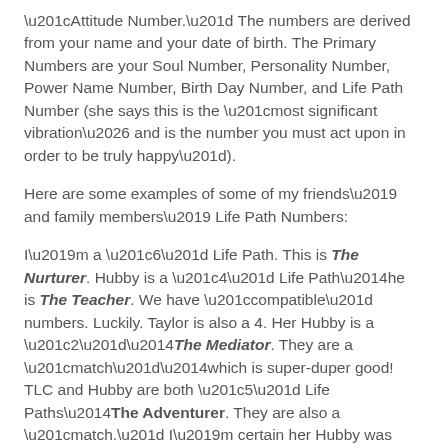“Attitude Number.” The numbers are derived from your name and your date of birth. The Primary Numbers are your Soul Number, Personality Number, Power Name Number, Birth Day Number, and Life Path Number (she says this is the “most significant vibration… and is the number you must act upon in order to be truly happy”).
Here are some examples of some of my friends’ and family members’ Life Path Numbers:
I’m a “6” Life Path. This is The Nurturer. Hubby is a “4” Life Path—he is The Teacher. We have “compatible” numbers. Luckily. Taylor is also a 4. Her Hubby is a “2”—The Mediator. They are a “match”—which is super-duper good! TLC and Hubby are both “5” Life Paths—The Adventurer. They are also a “match.” I’m certain her Hubby was relieved to learn this. Sunny is a “3”—The Communicator. Jackie is also a “5.”
When you read about your Life Path Number, I think you’ll be amazed. Not everything about that number will totally fit you, but Glynis explains that could be because of your other five